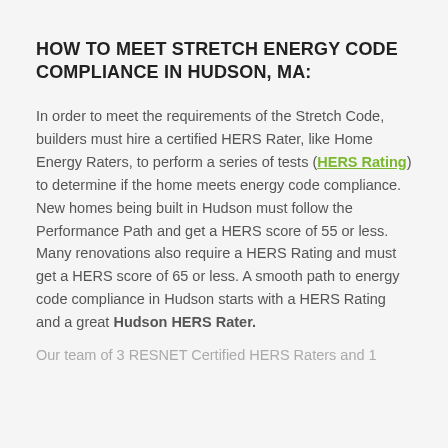HOW TO MEET STRETCH ENERGY CODE COMPLIANCE IN HUDSON, MA:
In order to meet the requirements of the Stretch Code, builders must hire a certified HERS Rater, like Home Energy Raters, to perform a series of tests (HERS Rating) to determine if the home meets energy code compliance. New homes being built in Hudson must follow the Performance Path and get a HERS score of 55 or less. Many renovations also require a HERS Rating and must get a HERS score of 65 or less. A smooth path to energy code compliance in Hudson starts with a HERS Rating and a great Hudson HERS Rater.
Our team of 3 RESNET Certified HERS Raters and 1...